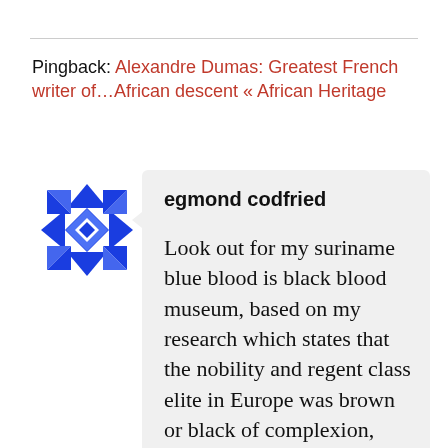Pingback: Alexandre Dumas: Greatest French writer of…African descent « African Heritage
[Figure (illustration): Blue geometric quilt-pattern avatar icon for commenter egmond codfried]
egmond codfried
Look out for my suriname blue blood is black blood museum, based on my research which states that the nobility and regent class elite in Europe was brown or black of complexion, with some showing classical African